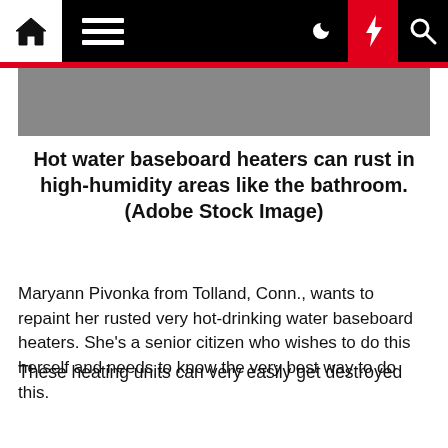Navigation bar with home, menu, moon, bolt, and search icons
[Figure (photo): Partial image of a hot water baseboard heater, dark gray background]
Hot water baseboard heaters can rust in high-humidity areas like the bathroom. (Adobe Stock Image)
Maryann Pivonka from Tolland, Conn., wants to repaint her rusted very hot-drinking water baseboard heaters. She's a senior citizen who wishes to do this herself and needs to know the very best way to do this.
Incredibly hot h2o baseboard heaters channel warm drinking water via pipes inside of baseboard heating units. They're exceptional in the South but widespread in the Northeast.
These heating units can very easily get destroyed